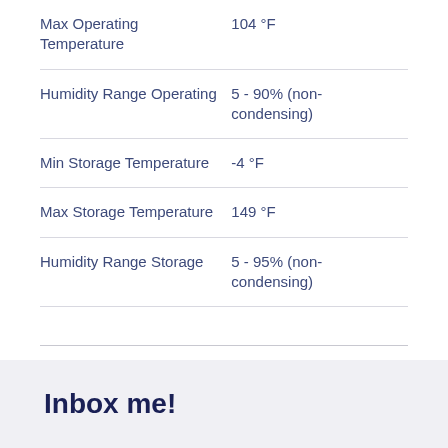| Specification | Value |
| --- | --- |
| Max Operating Temperature | 104 °F |
| Humidity Range Operating | 5 - 90% (non-condensing) |
| Min Storage Temperature | -4 °F |
| Max Storage Temperature | 149 °F |
| Humidity Range Storage | 5 - 95% (non-condensing) |
Inbox me!